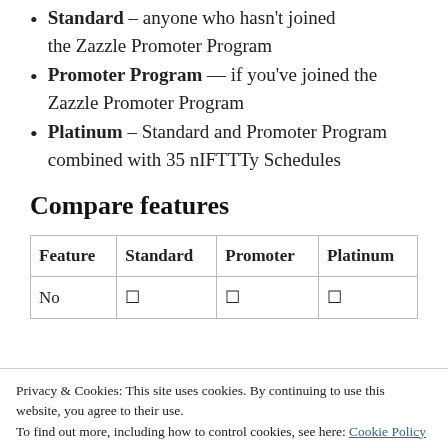Standard – anyone who hasn't joined the Zazzle Promoter Program
Promoter Program — if you've joined the Zazzle Promoter Program
Platinum – Standard and Promoter Program combined with 35 nIFTTTy Schedules
Compare features
| Feature | Standard | Promoter | Platinum |
| --- | --- | --- | --- |
| No | ☐ | ☐ | ☐ |
| with |  |  |  |
Privacy & Cookies: This site uses cookies. By continuing to use this website, you agree to their use. To find out more, including how to control cookies, see here: Cookie Policy
Close and accept